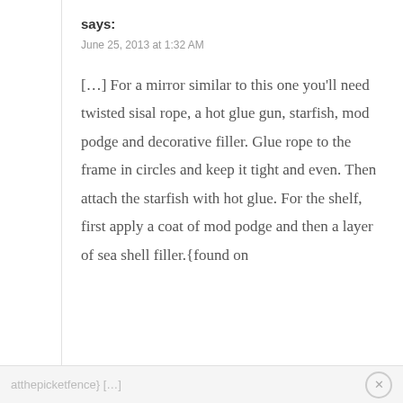says:
June 25, 2013 at 1:32 AM
[…] For a mirror similar to this one you'll need twisted sisal rope, a hot glue gun, starfish, mod podge and decorative filler. Glue rope to the frame in circles and keep it tight and even. Then attach the starfish with hot glue. For the shelf, first apply a coat of mod podge and then a layer of sea shell filler.{found on
atthepicketfence} […]